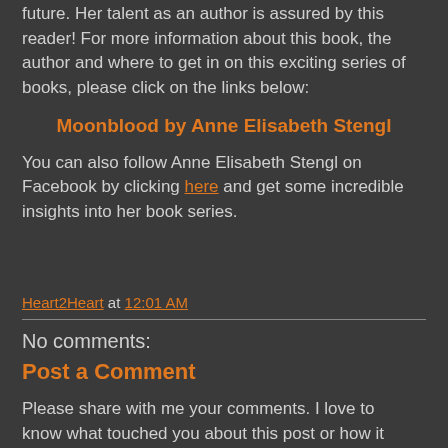future. Her talent as an author is assured by this reader! For more information about this book, the author and where to get in on this exciting series of books, please click on the links below:
Moonblood by Anne Elisabeth Stengl
You can also follow Anne Elisabeth Stengl on Facebook by clicking here and get some incredible insights into her book series.
Heart2Heart at 12:01 AM
No comments:
Post a Comment
Please share with me your comments. I love to know what touched you about this post or how it